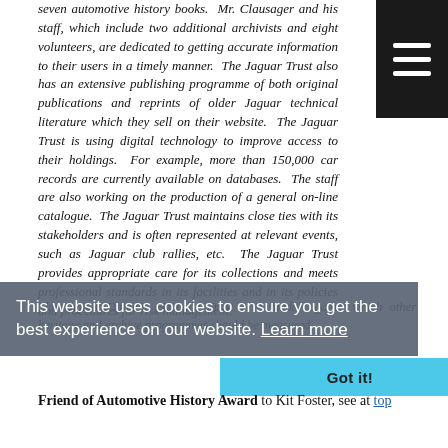seven automotive history books. Mr. Clausager and his staff, which include two additional archivists and eight volunteers, are dedicated to getting accurate information to their users in a timely manner. The Jaguar Trust also has an extensive publishing programme of both original publications and reprints of older Jaguar technical literature which they sell on their website. The Jaguar Trust is using digital technology to improve access to their holdings. For example, more than 150,000 car records are currently available on databases. The staff are also working on the production of a general on-line catalogue. The Jaguar Trust maintains close ties with its stakeholders and is often represented at relevant events, such as Jaguar club rallies, etc. The Jaguar Trust provides appropriate care for its collections and meets professional standards in its facilities and in its policies and procedures for risk management.
This website uses cookies to ensure you get the best experience on our website. Learn more
The Jaguar Daimler Heritage Trust is a model against which other heritage and archive programme should be measured.
Friend of Automotive History Award to Kit Foster, see at top